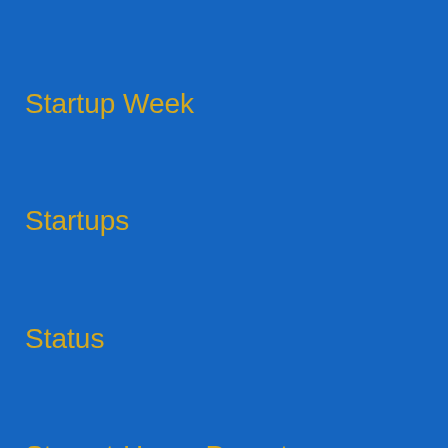Startup Week
Startups
Status
Stay-at-Home Parent
Steve Blank
Steve Jobs
Steve Massa
Storm
Storming